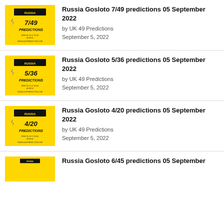Russia Gosloto 7/49 predictions 05 September 2022 by UK 49 Predictions September 5, 2022
Russia Gosloto 5/36 predictions 05 September 2022 by UK 49 Predictions September 5, 2022
Russia Gosloto 4/20 predictions 05 September 2022 by UK 49 Predictions September 5, 2022
Russia Gosloto 6/45 predictions 05 September 2022